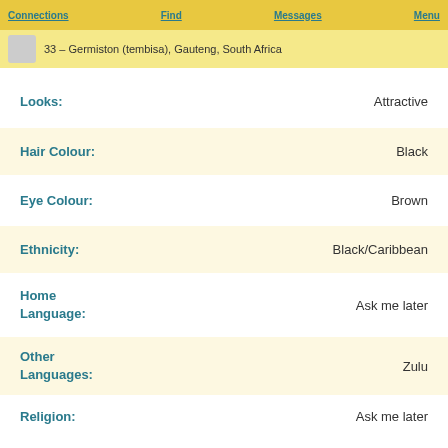Connections  Find  Messages  Menu
33 – Germiston (tembisa), Gauteng, South Africa
Looks: Attractive
Hair Colour: Black
Eye Colour: Brown
Ethnicity: Black/Caribbean
Home Language: Ask me later
Other Languages: Zulu
Religion: Ask me later